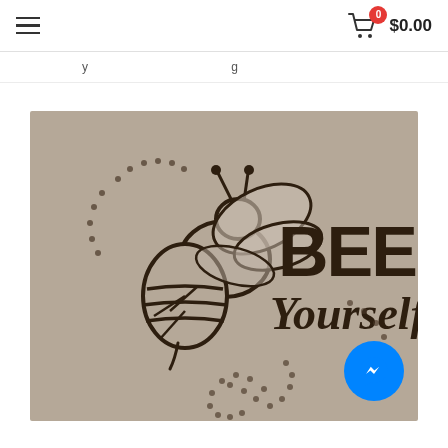$0.00
breadcrumb navigation
[Figure (photo): A laser-engraved leatherette plaque on tan/taupe background showing a hand-drawn honeybee outline on the left with dotted flight path trails, and the text 'BEE Yourself' in bold black font on the right.]